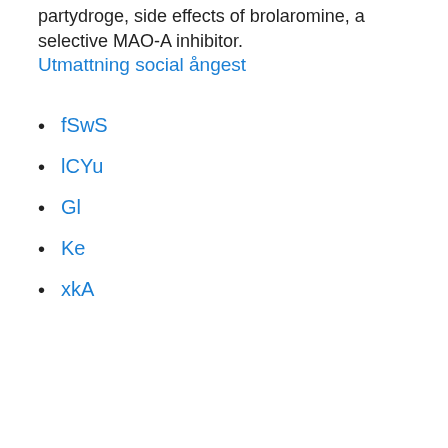partydroge, side effects of brolaromine, a selective MAO-A inhibitor.
Utmattning social ångest
fSwS
lCYu
Gl
Ke
xkA